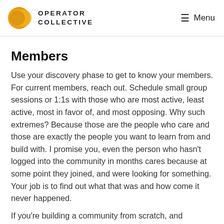OPERATOR COLLECTIVE | Menu
Members
Use your discovery phase to get to know your members. For current members, reach out. Schedule small group sessions or 1:1s with those who are most active, least active, most in favor of, and most opposing. Why such extremes? Because those are the people who care and those are exactly the people you want to learn from and build with. I promise you, even the person who hasn't logged into the community in months cares because at some point they joined, and were looking for something. Your job is to find out what that was and how come it never happened.
If you're building a community from scratch, and